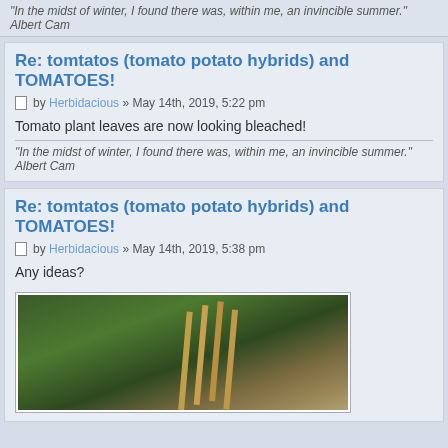"In the midst of winter, I found there was, within me, an invincible summer." Albert Cam
Re: tomtatos (tomato potato hybrids) and TOMATOES!
by Herbidacious » May 14th, 2019, 5:22 pm
Tomato plant leaves are now looking bleached!
"In the midst of winter, I found there was, within me, an invincible summer." Albert Cam
Re: tomtatos (tomato potato hybrids) and TOMATOES!
by Herbidacious » May 14th, 2019, 5:38 pm
Any ideas?
[Figure (photo): Photo of tomato plants with green leafy stems and bamboo cane supports near a window]